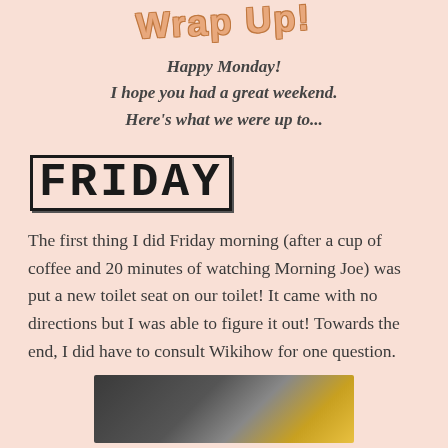Wrap Up!
Happy Monday!
I hope you had a great weekend.
Here's what we were up to...
FRIDAY
The first thing I did Friday morning (after a cup of coffee and 20 minutes of watching Morning Joe) was put a new toilet seat on our toilet! It came with no directions but I was able to figure it out! Towards the end, I did have to consult Wikihow for one question.
[Figure (photo): Photo of a table with papers and a yellow object, partially visible at bottom of page]